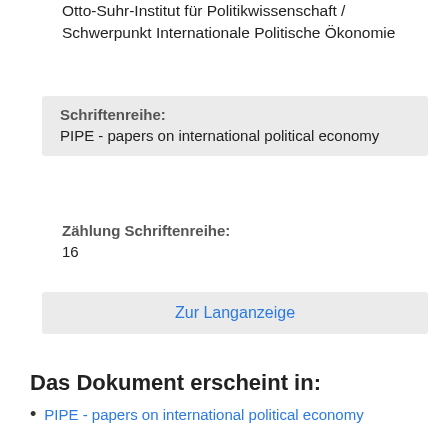Otto-Suhr-Institut für Politikwissenschaft / Schwerpunkt Internationale Politische Ökonomie
| Schriftenreihe: |
| --- |
| PIPE - papers on international political economy |
Zählung Schriftenreihe:
16
Zur Langanzeige
Das Dokument erscheint in:
PIPE - papers on international political economy